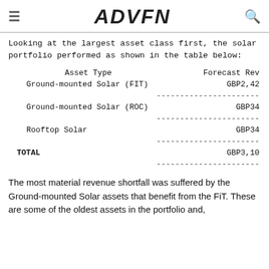ADVFN
Looking at the largest asset class first, the solar portfolio performed as shown in the table below:
| Asset Type | Forecast Rev |
| --- | --- |
| Ground-mounted Solar (FIT) | GBP2,42 |
| Ground-mounted Solar (ROC) | GBP34 |
| Rooftop Solar | GBP34 |
| TOTAL | GBP3,10 |
The most material revenue shortfall was suffered by the Ground-mounted Solar assets that benefit from the FiT. These are some of the oldest assets in the portfolio and,